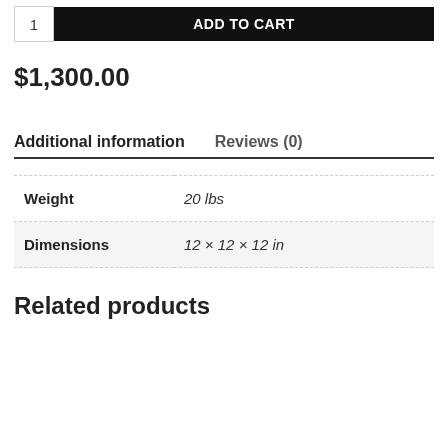1  ADD TO CART
$1,300.00
Additional information    Reviews (0)
|  |  |
| --- | --- |
| Weight | 20 lbs |
| Dimensions | 12 × 12 × 12 in |
Related products